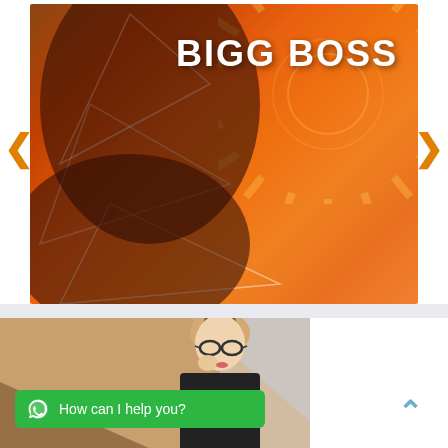[Figure (photo): Bigg Boss show promotional banner with orange background, sunburst pattern, and male celebrity figures, displaying 'BIGG BOSS' text in white bold letters]
[Figure (photo): Banner image of a woman with glasses and hair bun wearing black blazer, with geometric tan and gray overlay. Contains a green WhatsApp button with text 'How can I help you?']
How can I help you?